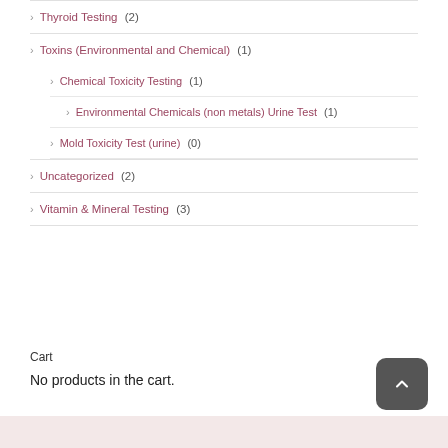Thyroid Testing (2)
Toxins (Environmental and Chemical) (1)
Chemical Toxicity Testing (1)
Environmental Chemicals (non metals) Urine Test (1)
Mold Toxicity Test (urine) (0)
Uncategorized (2)
Vitamin & Mineral Testing (3)
Cart
No products in the cart.